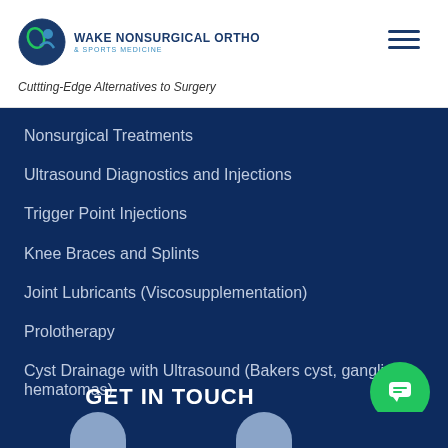[Figure (logo): Wake Nonsurgical Ortho & Sports Medicine logo with circular icon]
Cuttting-Edge Alternatives to Surgery
Nonsurgical Treatments
Ultrasound Diagnostics and Injections
Trigger Point Injections
Knee Braces and Splints
Joint Lubricants (Viscosupplementation)
Prolotherapy
Cyst Drainage with Ultrasound (Bakers cyst, ganglion, hematomas)
GET IN TOUCH